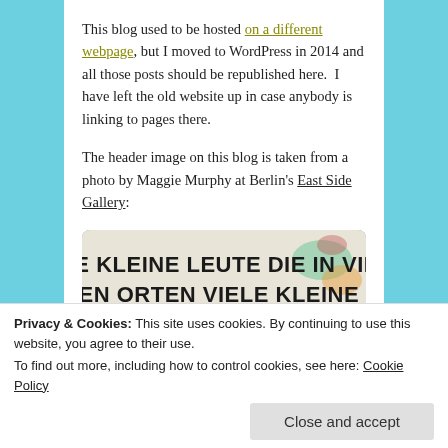This blog used to be hosted on a different webpage, but I moved to WordPress in 2014 and all those posts should be republished here. I have left the old website up in case anybody is linking to pages there.
The header image on this blog is taken from a photo by Maggie Murphy at Berlin's East Side Gallery:
[Figure (photo): Photo of a sign at Berlin's East Side Gallery showing text: 'VIELE KLEINE LEUTE DIE IN VIELEN KLEINEN ORTEN VIELE KLEINE DINGE TUN. KÖNNEN DAS GESICHT DER WELT MANY SMALL PEOPLE WHO IN VERÄNDERN']
Privacy & Cookies: This site uses cookies. By continuing to use this website, you agree to their use. To find out more, including how to control cookies, see here: Cookie Policy